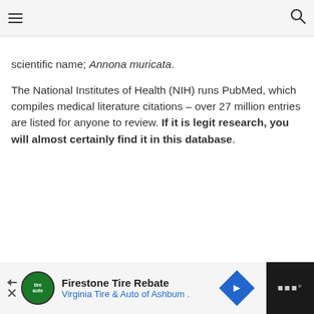≡   [search icon]
scientific name; Annona muricata.
The National Institutes of Health (NIH) runs PubMed, which compiles medical literature citations – over 27 million entries are listed for anyone to review. If it is legit research, you will almost certainly find it in this database.
Firestone Tire Rebate — Virginia Tire & Auto of Ashbum .